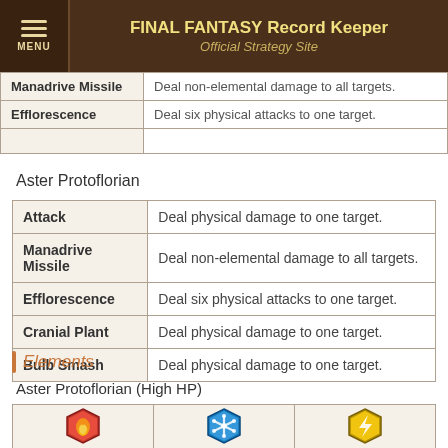FINAL FANTASY Record Keeper Official Strategy Site
| Ability | Description |
| --- | --- |
| Manadrive Missile | Deal non-elemental damage to all targets. |
| Efflorescence | Deal six physical attacks to one target. |
|  |  |
Aster Protoflorian
| Ability | Description |
| --- | --- |
| Attack | Deal physical damage to one target. |
| Manadrive Missile | Deal non-elemental damage to all targets. |
| Efflorescence | Deal six physical attacks to one target. |
| Cranial Plant | Deal physical damage to one target. |
| Bulb Smash | Deal physical damage to one target. |
Elements
Aster Protoflorian (High HP)
[Figure (infographic): Three elemental icons: Fire (red hexagon), Ice (blue hexagon), Lightning (yellow hexagon)]